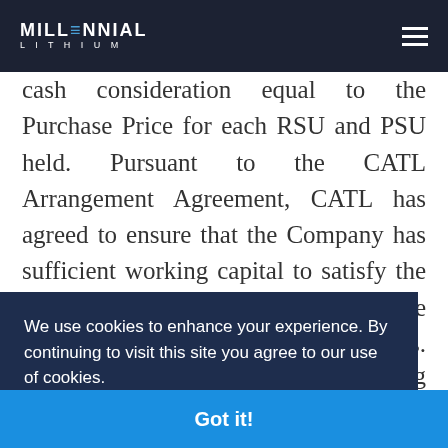MILLENNIAL LITHIUM
cash consideration equal to the Purchase Price for each RSU and PSU held. Pursuant to the CATL Arrangement Agreement, CATL has agreed to ensure that the Company has sufficient working capital to satisfy the aggregate consideration payable to the holders of
We use cookies to enhance your experience. By continuing to visit this site you agree to our use of cookies.
Got it!
ATL
Arrangement is expected to close in the